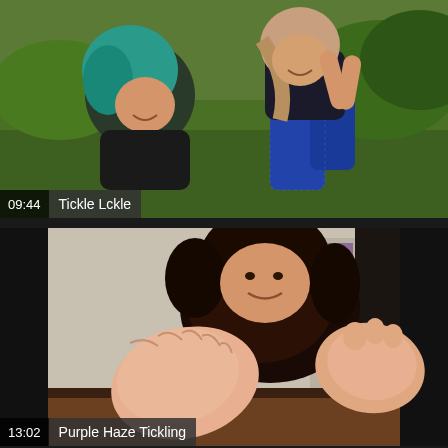[Figure (photo): Two young women lying on grass outdoors. One has teal/blue hair wearing black, the other has light pink/blonde hair wearing blue patterned pants. Both are smiling. Video thumbnail with duration 09:44 and title 'Tickle Lckle'.]
[Figure (photo): A young woman with dark curly hair in black lace top shown with bare feet raised toward camera in close-up. Video thumbnail with duration 13:02 and title 'Purple Haze Tickling'.]